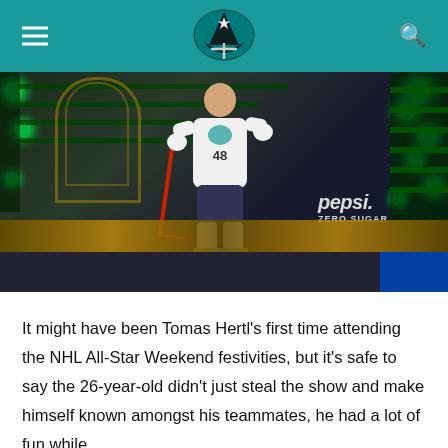San Jose Sharks website header with logo, hamburger menu, and search icon
[Figure (photo): Hockey player (Tomas Hertl #48) in white NHL All-Star jersey on a brightly lit stage with green lights, holding a hockey stick. Pepsi Zero Sugar advertisement visible in background.]
It might have been Tomas Hertl's first time attending the NHL All-Star Weekend festivities, but it's safe to say the 26-year-old didn't just steal the show and make himself known amongst his teammates, he had a lot of fun while